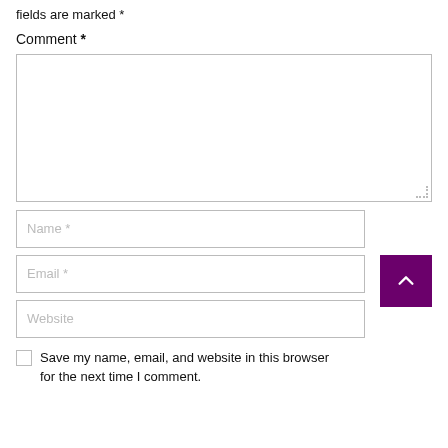fields are marked *
Comment *
[Figure (screenshot): Comment text area input box, empty, with resize handle at bottom right]
[Figure (screenshot): Name * text input field]
[Figure (screenshot): Email * text input field with purple scroll-to-top button on the right]
[Figure (screenshot): Website text input field]
Save my name, email, and website in this browser for the next time I comment.